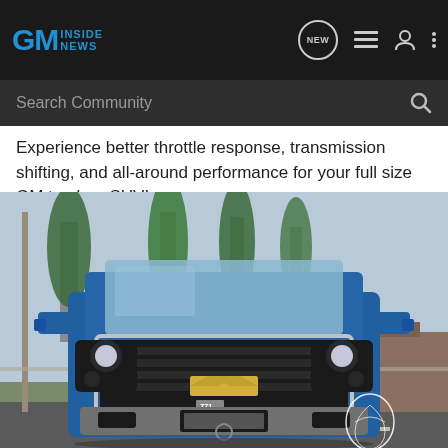GM Inside News - Search Community
Experience better throttle response, transmission shifting, and all-around performance for your full size GM truck or SUV!
[Figure (photo): Front view of a blue Chevrolet Silverado Z71 truck parked in a lot with trees in the background. Trifecta logo watermark in bottom right corner.]